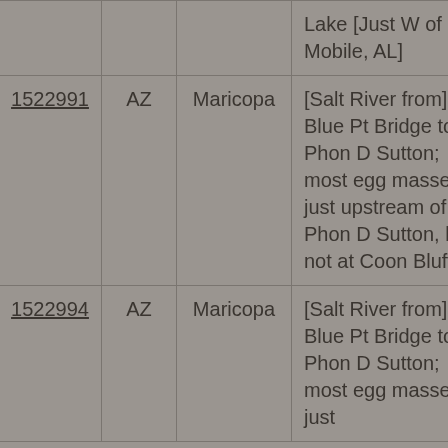| ID | State | County | Description | Year | Code |
| --- | --- | --- | --- | --- | --- |
|  |  |  | Lake [Just W of Mobile, AL] |  |  |
| 1522991 | AZ | Maricopa | [Salt River from] Blue Pt Bridge to Phon D Sutton; most egg masses just upstream of Phon D Sutton, but not at Coon Bluff | 2017 | 150601... |
| 1522994 | AZ | Maricopa | [Salt River from] Blue Pt Bridge to Phon D Sutton; most egg masses just | 2018 | 150601... |